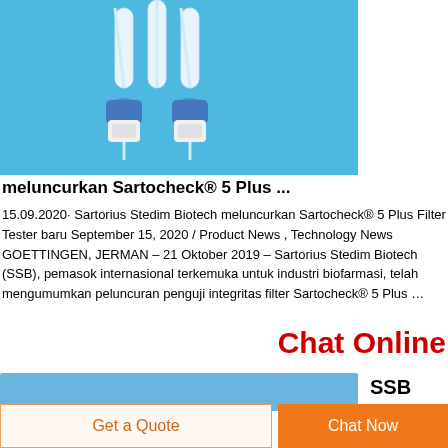[Figure (photo): Photo of Sartocheck 5 Plus filter tester devices — white cylindrical filter elements with blue connectors and clear tubing, on a bright blue background.]
meluncurkan Sartocheck® 5 Plus ...
15.09.2020· Sartorius Stedim Biotech meluncurkan Sartocheck® 5 Plus Filter Tester baru September 15, 2020 / Product News , Technology News GOETTINGEN, JERMAN – 21 Oktober 2019 – Sartorius Stedim Biotech (SSB), pemasok internasional terkemuka untuk industri biofarmasi, telah mengumumkan peluncuran penguji integritas filter Sartocheck® 5 Plus …
Chat Online
SSB
Get a Quote
Chat Now